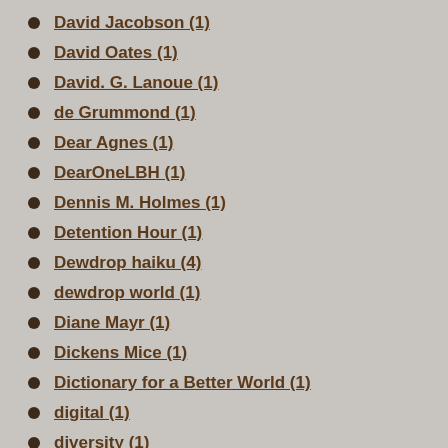David Jacobson (1)
David Oates (1)
David. G. Lanoue (1)
de Grummond (1)
Dear Agnes (1)
DearOneLBH (1)
Dennis M. Holmes (1)
Detention Hour (1)
Dewdrop haiku (4)
dewdrop world (1)
Diane Mayr (1)
Dickens Mice (1)
Dictionary for a Better World (1)
digital (1)
diversity (1)
dog poems (1)